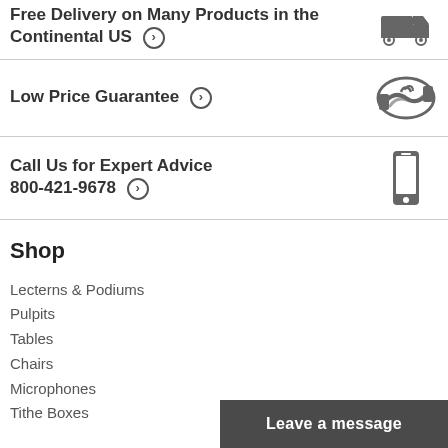Free Delivery on Many Products in the Continental US →
Low Price Guarantee →
Call Us for Expert Advice
800-421-9678 →
Shop
Lecterns & Podiums
Pulpits
Tables
Chairs
Microphones
Tithe Boxes
Leave a message